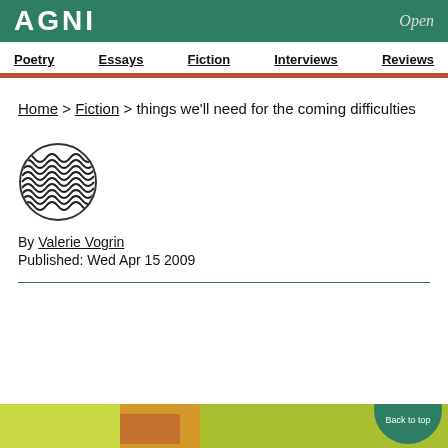AGNI  Open
Poetry  Essays  Fiction  Interviews  Reviews
Home > Fiction > things we'll need for the coming difficulties
[Figure (illustration): Circular author avatar with decorative wave/scale pattern in black and white]
By Valerie Vogrin
Published: Wed Apr 15 2009
[Figure (photo): Colorful nature image visible at bottom of page with green and reddish tones, partially obscured by back to top button]